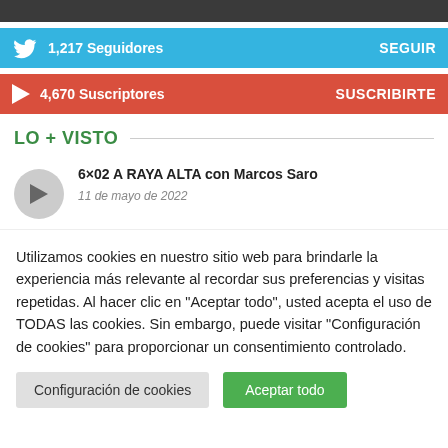[Figure (screenshot): Clipped top navigation bar, dark grey background]
1,217  Seguidores   SEGUIR
4,670  Suscriptores   SUSCRIBIRTE
LO + VISTO
6×02 A RAYA ALTA con Marcos Saro
11 de mayo de 2022
Utilizamos cookies en nuestro sitio web para brindarle la experiencia más relevante al recordar sus preferencias y visitas repetidas. Al hacer clic en "Aceptar todo", usted acepta el uso de TODAS las cookies. Sin embargo, puede visitar "Configuración de cookies" para proporcionar un consentimiento controlado.
Configuración de cookies
Aceptar todo